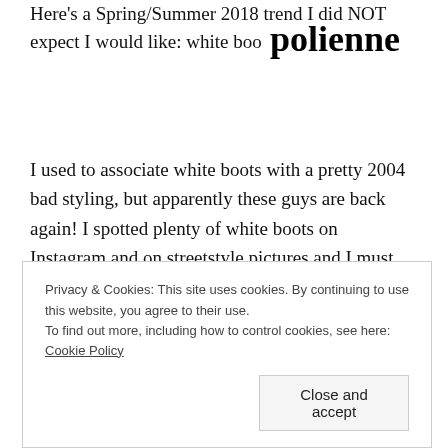Here's a Spring/Summer 2018 trend I did NOT expect I would like: white boo
polienne
I used to associate white boots with a pretty 2004 bad styling, but apparently these guys are back again! I spotted plenty of white boots on Instagram and on streetstyle pictures and I must admit that they're definitely growing on me.
Worn with a simple pair of denim and a checked blazer seems like the most convenient way to style them, but I do also like when they pop out next to a super bright
Privacy & Cookies: This site uses cookies. By continuing to use this website, you agree to their use.
To find out more, including how to control cookies, see here: Cookie Policy
Close and accept